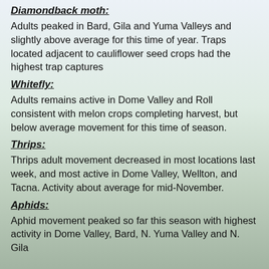Diamondback moth:
Adults peaked in Bard, Gila and Yuma Valleys and slightly above average for this time of year. Traps located adjacent to cauliflower seed crops had the highest trap captures
Whitefly:
Adults remains active in Dome Valley and Roll consistent with melon crops completing harvest, but below average movement for this time of season.
Thrips:
Thrips adult movement decreased in most locations last week, and most active in Dome Valley, Wellton, and Tacna. Activity about average for mid-November.
Aphids:
Aphid movement peaked so far this season with highest activity in Dome Valley, Bard, N. Yuma Valley and N. Gila